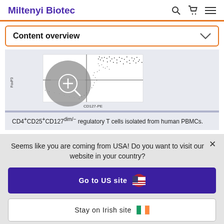Miltenyi Biotec
Content overview
[Figure (scatter-plot): Flow cytometry scatter plot showing CD127-PE on x-axis and FoxP3 on y-axis with a zoom magnifier overlay]
CD4+CD25+CD127dim/− regulatory T cells isolated from human PBMCs.
Seems like you are coming from USA! Do you want to visit our website in your country?
Go to US site
Stay on Irish site